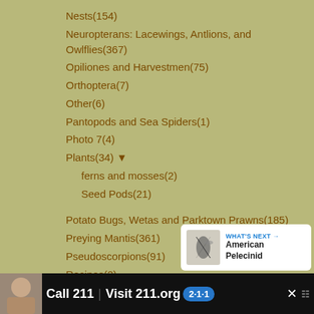Nests(154)
Neuropterans: Lacewings, Antlions, and Owlflies(367)
Opiliones and Harvestmen(75)
Orthoptera(7)
Other(6)
Pantopods and Sea Spiders(1)
Photo 7(4)
Plants(34) ▼
ferns and mosses(2)
Seed Pods(21)
Potato Bugs, Wetas and Parktown Prawns(185)
Preying Mantis(361)
Pseudoscorpions(91)
Recipes(2)
Reptiles(28)
Rodents(13)
Root Maggot Flies(1)
Scorpionflies(33)
[Figure (screenshot): UI overlay with heart button (blue circle), count badge showing 1, and share button (white circle with share icon)]
[Figure (screenshot): What's Next panel showing American Pelecinid with insect thumbnail]
[Figure (screenshot): Advertisement bar: Call 211 | Visit 211.org with 2-1-1 badge and child photo]